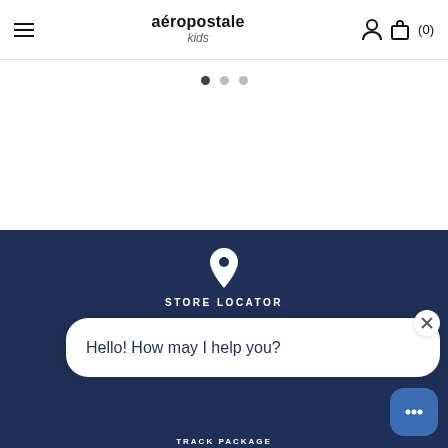aéropostale kids
[Figure (screenshot): Carousel navigation dots — one filled dark (active), two lighter grey dots]
[Figure (infographic): Store Locator section on dark navy background with white map pin icon and text STORE LOCATOR]
[Figure (infographic): Email/envelope icon on dark navy background]
Hello! How may I help you?
[Figure (infographic): Chatbot icon — blue rounded square with smiley face dots]
TRACK PACKAGE